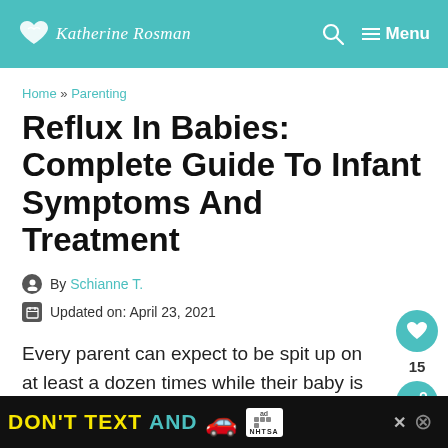Katherine Rosman — Menu
Home » Parenting
Reflux In Babies: Complete Guide To Infant Symptoms And Treatment
By Schianne T.
Updated on: April 23, 2021
Every parent can expect to be spit up on at least a dozen times while their baby is
[Figure (other): NHTSA advertisement banner: DON'T TEXT AND [car emoji] ad badge NHTSA, with close buttons]